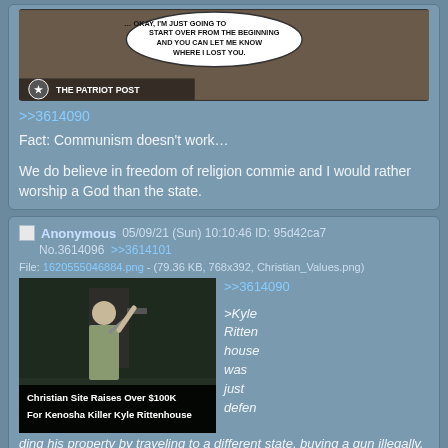[Figure (screenshot): Top portion of imageboard post with meme image (The Patriot Post comic) partially visible]
>>3614090
Fact: Communism doesn't work…

We do believe in freedom of religion commie and I would rather worship a God than the state.
Anonymous 05/09/21 (Sun) 10:10:46 ID: 95d42ca7
No.3614096  >>3614101
File: 1620555046884.png - (79.36 KB, 768x392, Christian_Values.png)
[Figure (screenshot): Photo of Kyle Rittenhouse at night holding a rifle with arm raised, with overlay text: 'Christian Site Raises Over $100K For Kenosha Killer Kyle Rittenhouse']
>>3614090

>Kyle Ritten house was just defen ding his property by traveling to a different state, buying a gun illegally, and shooting people in a city he didn't live in or have any connection to.
Anonymous 05/09/21 (Sun) 10:44:10 ID: caa2ea34